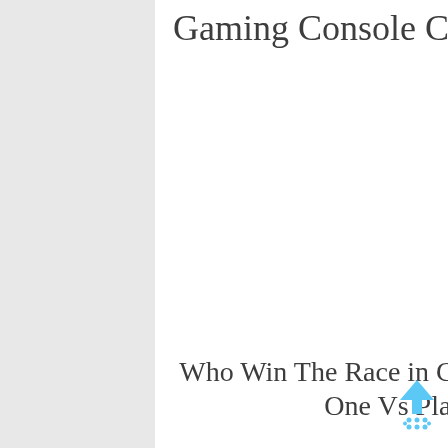Gaming Console Comparison 2014?
[Figure (other): White blank/empty content area in the middle of the page]
Who Win The Race in Gaming Console - Xbox One Vs PlayStation 4
[Figure (infographic): Blue upward arrow icon with snowflake/dotted base, scroll-to-top button in bottom right corner]